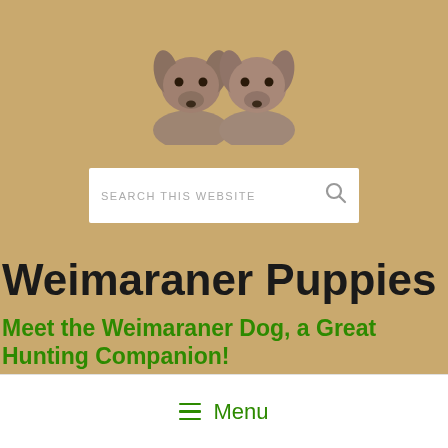[Figure (photo): Two Weimaraner puppies side by side, facing forward, on a tan/golden background]
[Figure (screenshot): Search bar with placeholder text SEARCH THIS WEBSITE and a magnifying glass icon]
Weimaraner Puppies
Meet the Weimaraner Dog, a Great Hunting Companion!
☰ Menu